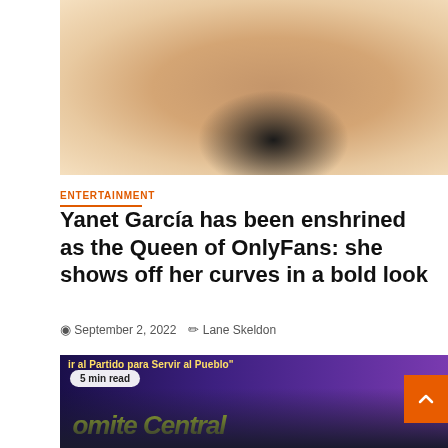[Figure (photo): Photo of a woman with long wavy brown hair, smiling, wearing a dark spaghetti-strap top, against a neutral background]
ENTERTAINMENT
Yanet García has been enshrined as the Queen of OnlyFans: she shows off her curves in a bold look
September 2, 2022   Lane Skeldon
[Figure (photo): Photo of a group of masked people at a political event with purple banner reading 'ir al Partido para Servir al Pueblo' and yellow-green text 'Comite Central'. Badge reads '5 min read'.]